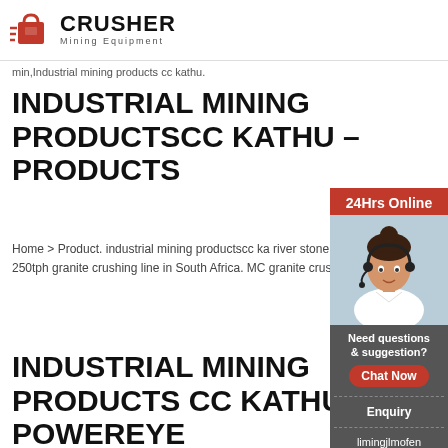[Figure (logo): Crusher Mining Equipment logo with red shopping bag icon and bold black CRUSHER text]
min,Industrial mining products cc kathu.
INDUSTRIAL MINING PRODUCTSCC KATHU – PRODUCTS
Home > Product. industrial mining productscc ka... river stone crushing line in Chile. 200tph granite line in Cameroon. 250tph limestone crushing lin... 250tph granite crushing line in South Africa. MC... granite crushing line in Zimbabwe. 400tph crush... Guinea.
[Figure (infographic): 24Hrs Online sidebar with photo of woman wearing headset, Need questions & suggestion? Chat Now button, Enquiry section, limingjlmofen@sina.com email]
INDUSTRIAL MINING PRODUCTS CC KATHU POWEREYE